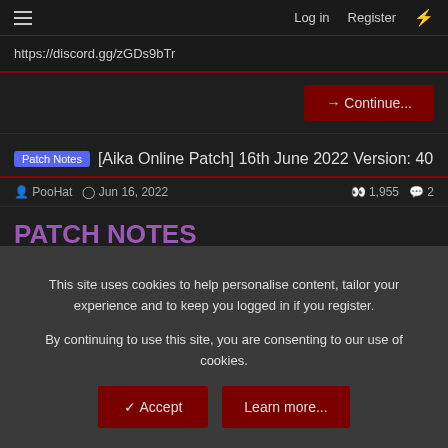Log in  Register
https://discord.gg/zGDs9bTr
→ Continue...
[Patch Notes] [Aika Online Patch] 16th June 2022 Version: 40
PooHat · Jun 16, 2022   1,955 · 2
PATCH NOTES
*If you wish to have your Ring Accessory enchants refunded, please send an in-game mail with your Ring to any GM
This site uses cookies to help personalise content, tailor your experience and to keep you logged in if you register.
By continuing to use this site, you are consenting to our use of cookies.